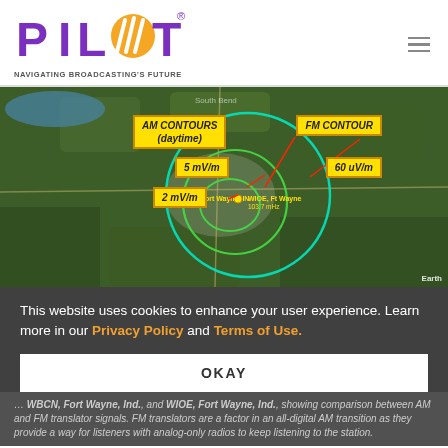PILOT — NAVIGATING BROADCASTING'S FUTURE
[Figure (map): Aerial/satellite map showing AM contours (daytime) with 5 mV/m and 2 mV/m labels, and FM Contour with 60 uV/m label, for stations WBCN Fort Wayne and WIOE Fort Wayne, Indiana. Green circular contour lines overlaid on satellite imagery.]
This website uses cookies to enhance your user experience. Learn more in our Privacy Policy and Terms of Use.
OKAY
... WBCN, Fort Wayne, Ind., and WIOE, Fort Wayne, Ind., showing comparison between AM and FM translator signals. FM translators are a factor in an all-digital AM transition as they provide a way for listeners with analog-only radios to keep listening to the station.